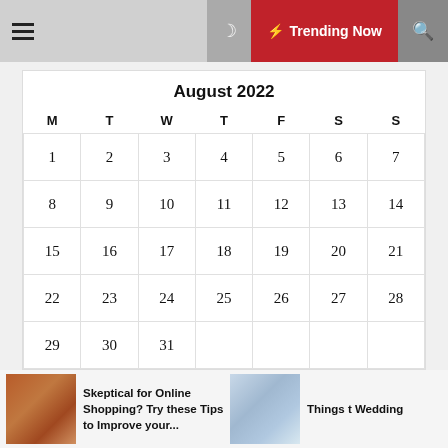☰ ☽ ⚡ Trending Now 🔍
| M | T | W | T | F | S | S |
| --- | --- | --- | --- | --- | --- | --- |
| 1 | 2 | 3 | 4 | 5 | 6 | 7 |
| 8 | 9 | 10 | 11 | 12 | 13 | 14 |
| 15 | 16 | 17 | 18 | 19 | 20 | 21 |
| 22 | 23 | 24 | 25 | 26 | 27 | 28 |
| 29 | 30 | 31 |  |  |  |  |
« Feb
Skeptical for Online Shopping? Try these Tips to Improve your...
Things t Wedding